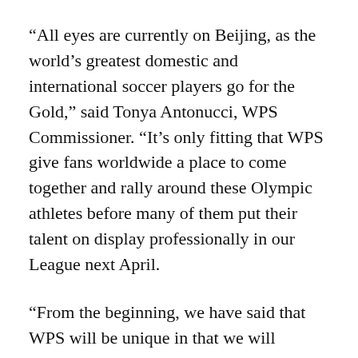“All eyes are currently on Beijing, as the world’s greatest domestic and international soccer players go for the Gold,” said Tonya Antonucci, WPS Commissioner. “It’s only fitting that WPS give fans worldwide a place to come together and rally around these Olympic athletes before many of them put their talent on display professionally in our League next April.
“From the beginning, we have said that WPS will be unique in that we will provide Fans unparalleled interaction with our players and each other; this site is the first step in fulfilling that promise,” added Antonucci.